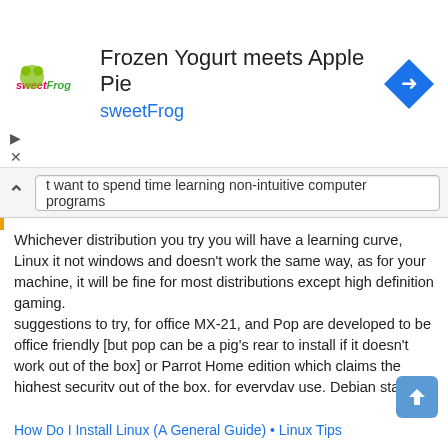[Figure (other): Advertisement banner for sweetFrog: Frozen Yogurt meets Apple Pie, with sweetFrog logo and navigation icon]
t want to spend time learning non-intuitive computer programs
Whichever distribution you try you will have a learning curve, Linux it not windows and doesn't work the same way, as for your machine, it will be fine for most distributions except high definition gaming.
suggestions to try, for office MX-21, and Pop are developed to be office friendly [but pop can be a pig's rear to install if it doesn't work out of the box] or Parrot Home edition which claims the highest security out of the box, for everyday use, Debian stable with non-free codecs, Peppermint11, Any of the Ubuntu family, Mint, are among the most popular for newbies,
As I said Suggestions, only you can make your own decision after running a few "Live" to test
How Do I Install Linux (A General Guide) • Linux Tips